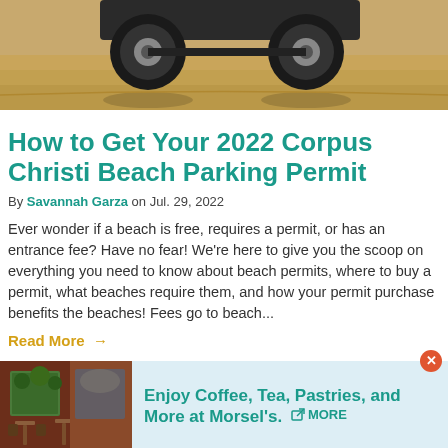[Figure (photo): Top portion of a vehicle (wheels/undercarriage) on sandy beach ground, cropped image]
How to Get Your 2022 Corpus Christi Beach Parking Permit
By Savannah Garza on Jul. 29, 2022
Ever wonder if a beach is free, requires a permit, or has an entrance fee? Have no fear! We're here to give you the scoop on everything you need to know about beach permits, where to buy a permit, what beaches require them, and how your permit purchase benefits the beaches! Fees go to beach...
Read More →
[Figure (photo): Advertisement: cafe interior photo on left, text 'Enjoy Coffee, Tea, Pastries, and More at Morsel's.' with MORE link on right, close button top right]